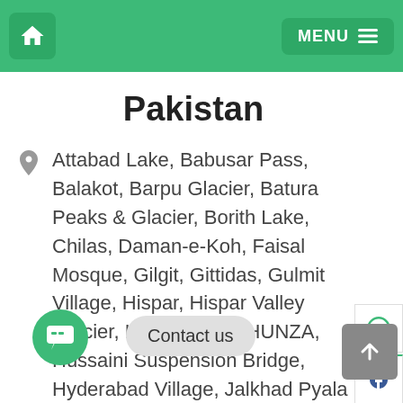Home | MENU
Pakistan
Attabad Lake, Babusar Pass, Balakot, Barpu Glacier, Batura Peaks & Glacier, Borith Lake, Chilas, Daman-e-Koh, Faisal Mosque, Gilgit, Gittidas, Gulmit Village, Hispar, Hispar Valley Glacier, Hopar Valley, HUNZA, Hussaini Suspension Bridge, Hyderabad Village, Jalkhad Pyala Lake, Jaulian Taxila, KAGHAN, Kargah Gilgit, Karimabad, ...ass, Kiwai, ...ok Virsa, Lulusar Lake, Malubiting Peak, Mansehra, Miar